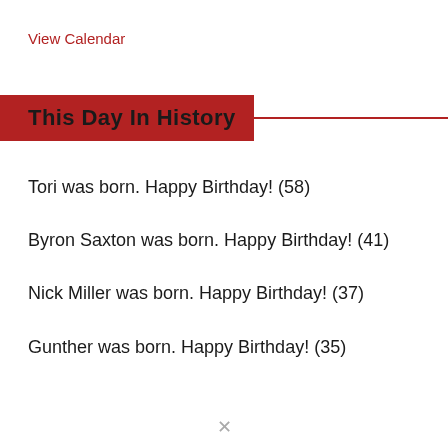View Calendar
This Day In History
Tori was born. Happy Birthday! (58)
Byron Saxton was born. Happy Birthday! (41)
Nick Miller was born. Happy Birthday! (37)
Gunther was born. Happy Birthday! (35)